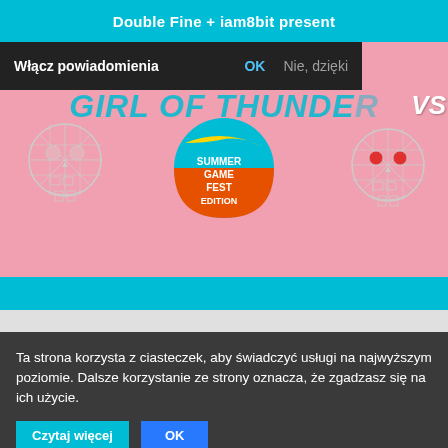[Figure (screenshot): Mobile browser screenshot showing a Double Fine + iamObit gaming page with a notification bar overlay asking 'Włącz powiadomienia' with OK and Nie, dzięki buttons, and a Summer Game Fest Edition globe graphic with skull icons on a pink background.]
Ta strona korzysta z ciasteczek, aby świadczyć usługi na najwyższym poziomie. Dalsze korzystanie ze strony oznacza, że zgadzasz się na ich użycie.
Czytaj więcej   OK